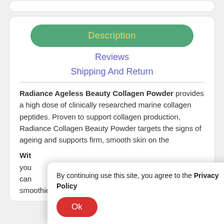Description
Reviews
Shipping And Return
Radiance Ageless Beauty Collagen Powder provides a high dose of clinically researched marine collagen peptides. Proven to support collagen production, Radiance Collagen Beauty Powder targets the signs of ageing and supports firm, smooth skin on the
Wit
you can smoothies or added you favourite baking or meal.
By continuing use this site, you agree to the Privacy Policy
Ok